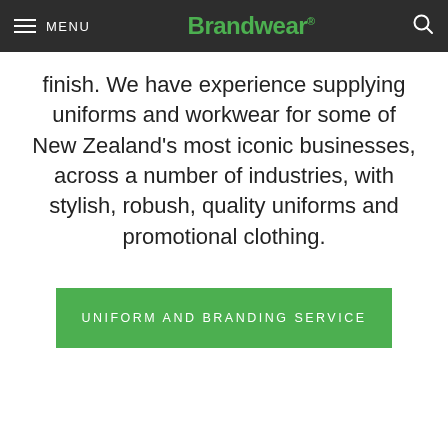MENU | Brandwear®
finish. We have experience supplying uniforms and workwear for some of New Zealand's most iconic businesses, across a number of industries, with stylish, robush, quality uniforms and promotional clothing.
UNIFORM AND BRANDING SERVICE